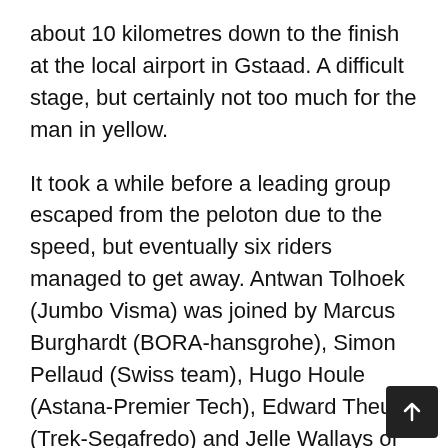about 10 kilometres down to the finish at the local airport in Gstaad. A difficult stage, but certainly not too much for the man in yellow.
It took a while before a leading group escaped from the peloton due to the speed, but eventually six riders managed to get away. Antwan Tolhoek (Jumbo Visma) was joined by Marcus Burghardt (BORA-hansgrohe), Simon Pellaud (Swiss team), Hugo Houle (Astana-Premier Tech), Edward Theuns (Trek-Segafredo) and Jelle Wallays of Cofidis. The difference was just under 2 minutes. However, the break was soon swallowed up again and the next attack attempt by 22 riders was short-lived. Not much later it was the turn o